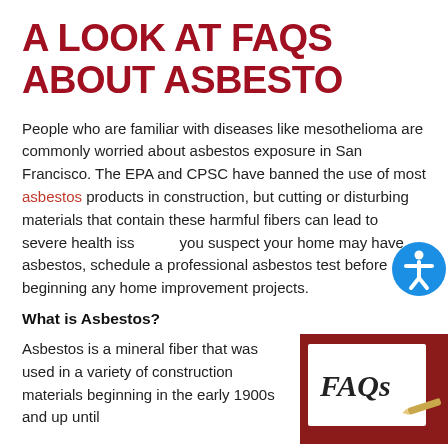A LOOK AT FAQS ABOUT ASBESTO
People who are familiar with diseases like mesothelioma are commonly worried about asbestos exposure in San Francisco. The EPA and CPSC have banned the use of most asbestos products in construction, but cutting or disturbing materials that contain these harmful fibers can lead to severe health issues. If you suspect your home may have asbestos, schedule a professional asbestos test before beginning any home improvement projects.
What is Asbestos?
Asbestos is a mineral fiber that was used in a variety of construction materials beginning in the early 1900s and up until
[Figure (photo): A white card with 'FAQs' written on it in serif font, resting on a dark red/maroon background, with a pencil visible at the lower right corner of the card.]